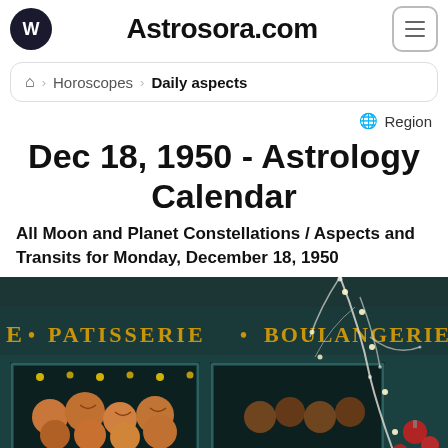Astrosora.com
Horoscopes > Daily aspects
Region
Dec 18, 1950 - Astrology Calendar
All Moon and Planet Constellations / Aspects and Transits for Monday, December 18, 1950
[Figure (photo): A French patisserie and boulangerie storefront with baked goods in the window, holiday lights and snowy branches in foreground]